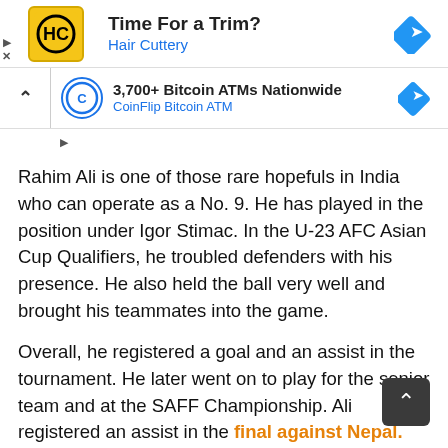[Figure (other): Hair Cuttery advertisement banner with logo, 'Time For a Trim?' heading and navigation arrow icon]
[Figure (other): CoinFlip Bitcoin ATM advertisement banner with logo, '3,700+ Bitcoin ATMs Nationwide' heading and navigation arrow icon]
Rahim Ali is one of those rare hopefuls in India who can operate as a No. 9. He has played in the position under Igor Stimac. In the U-23 AFC Asian Cup Qualifiers, he troubled defenders with his presence. He also held the ball very well and brought his teammates into the game.
Overall, he registered a goal and an assist in the tournament. He later went on to play for the senior team and at the SAFF Championship. Ali registered an assist in the final against Nepal. However, he only played nine games for the crisis-ridden